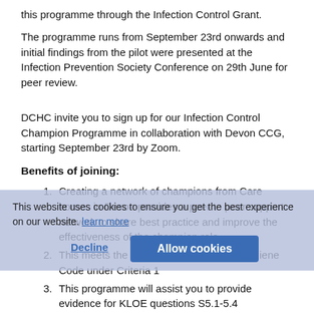this programme through the Infection Control Grant.
The programme runs from September 23rd onwards and initial findings from the pilot were presented at the Infection Prevention Society Conference on 29th June for peer review.
DCHC invite you to sign up for our Infection Control Champion Programme in collaboration with Devon CCG, starting September 23rd by Zoom.
Benefits of joining:
Creating a network of champions from Care homes in Devon provides a peer to peer support network to share best practice and improve the effectiveness of the champion role
This meets the recommendation in the Hygiene Code under Criteria 1
This programme will assist you to provide evidence for KLOE questions S5.1-5.4
Helps support learners to meet outcomes for